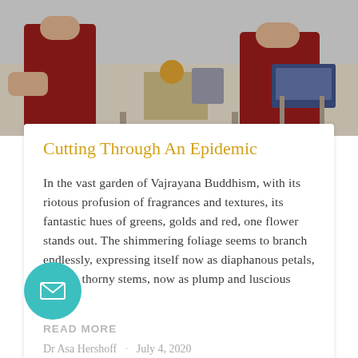[Figure (photo): Photo of people in red robes seated at tables with objects, in an indoor setting]
Cutting Through An Epidemic
In the vast garden of Vajrayana Buddhism, with its riotous profusion of fragrances and textures, its fantastic hues of greens, golds and red, one flower stands out. The shimmering foliage seems to branch endlessly, expressing itself now as diaphanous petals, now as thorny stems, now as plump and luscious fruits.
READ MORE
Dr Asa Hershoff · July 4, 2020